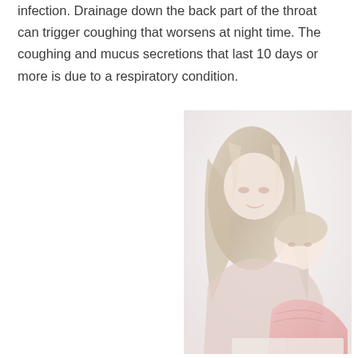infection. Drainage down the back part of the throat can trigger coughing that worsens at night time. The coughing and mucus secretions that last 10 days or more is due to a respiratory condition.
[Figure (photo): A woman and a young child reading a book together, shown in a soft, faded/washed-out color palette with pink and warm tones.]